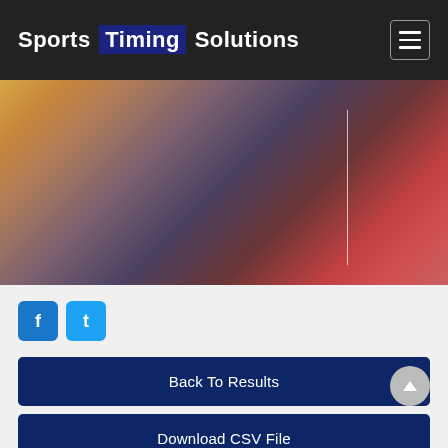Sports Timing Solutions
[Figure (photo): Blurred colorful sports/race event photo background]
The Lincolnshire Tough Ten 2015
f
t
Back To Results
Download CSV File
Make A Timing Enquiry
All Age Categories